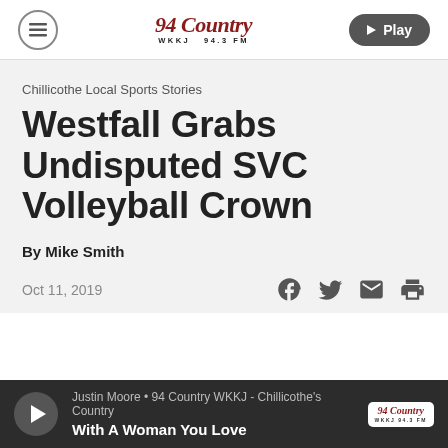94 Country WKKJ 94.3 FM — Play
Chillicothe Local Sports Stories
Westfall Grabs Undisputed SVC Volleyball Crown
By Mike Smith
Oct 11, 2019
Justin Moore • 94 Country WKKJ - Chillicothe's Country — With A Woman You Love